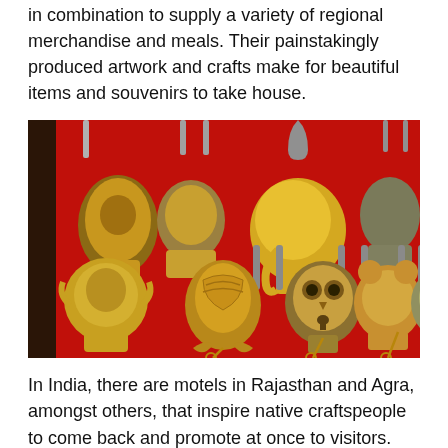in combination to supply a variety of regional merchandise and meals. Their painstakingly produced artwork and crafts make for beautiful items and souvenirs to take house.
[Figure (photo): A display of ornate brass/metal padlocks shaped like animals (elephants, owls, fish, bears, turtles, crabs) hanging on a red background, each with small keys attached.]
In India, there are motels in Rajasthan and Agra, amongst others, that inspire native craftspeople to come back and promote at once to visitors. Whilst you purchase from the artisans, you give again to the local people and in addition